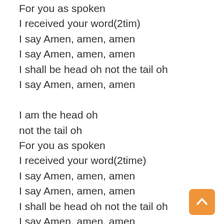For you as spoken
I received your word(2tim)
I say Amen, amen, amen
I say Amen, amen, amen
I shall be head oh not the tail oh
I say Amen, amen, amen

I am the head oh
not the tail oh
For you as spoken
I received your word(2time)
I say Amen, amen, amen
I say Amen, amen, amen
I shall be head oh not the tail oh
I say Amen, amen, amen

 I shall be head
(Amen,)
I shall be head oh